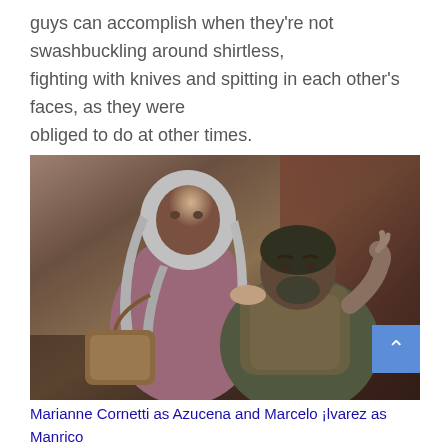guys can accomplish when they're not swashbuckling around shirtless, fighting with knives and spitting in each other's faces, as they were obliged to do at other times.
[Figure (photo): A theatrical stage photo showing an older woman with long grey hair wearing a pink/mauve coat, standing behind a seated man wearing a patterned vest and dark jacket. They are in a dramatic pose on a dimly lit stage set.]
Marianne Cornetti as Azucena and Marcelo ¡lvarez as Manrico